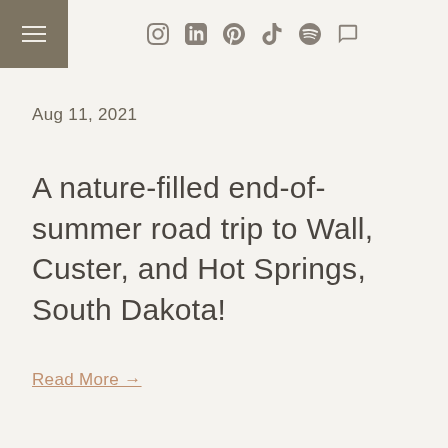Navigation and social icons header
Aug 11, 2021
A nature-filled end-of-summer road trip to Wall, Custer, and Hot Springs, South Dakota!
Read More →